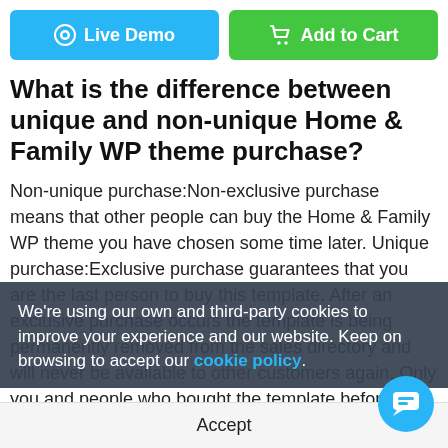[Figure (other): Two buttons: Live Demo (blue) and Add to Cart (green)]
What is the difference between unique and non-unique Home & Family WP theme purchase?
Non-unique purchase:Non-exclusive purchase means that other people can buy the Home & Family WP theme you have chosen some time later. Unique purchase:Exclusive purchase guarantees that you are the last person to buy this template. After an exclusive purchase occurs the template is being permanently removed from the sales directory and will never be available to other customers again. Only you and people who bought the template before you will own it.
We're using our own and third-party cookies to improve your experience and our website. Keep on browsing to accept our cookie policy.
Accept
Can I resell the Wordpress design template?